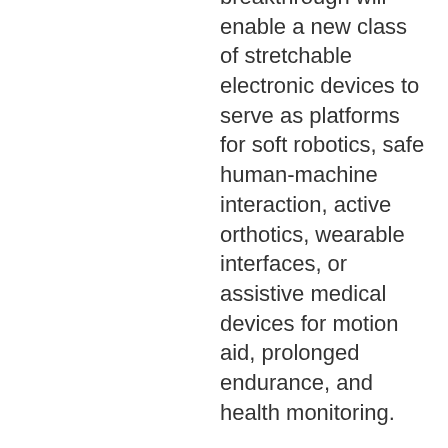breakthrough will enable a new class of stretchable electronic devices to serve as platforms for soft robotics, safe human-machine interaction, active orthotics, wearable interfaces, or assistive medical devices for motion aid, prolonged endurance, and health monitoring.
Advantages:
-Allows printing on soft functional materials
-New class of stretchable electronic devices
Potential Applications:
-Soft robotics
-Active orthotics